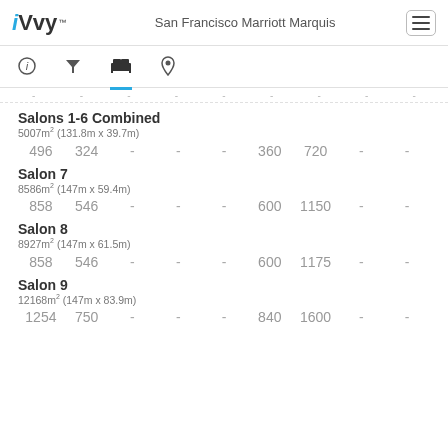iVvy™  San Francisco Marriott Marquis
Salons 1-6 Combined
5007m² (131.8m x 39.7m)
496  324  -  -  -  360  720  -  -
Salon 7
8586m² (147m x 59.4m)
858  546  -  -  -  600  1150  -  -
Salon 8
8927m² (147m x 61.5m)
858  546  -  -  -  600  1175  -  -
Salon 9
12168m² (147m x 83.9m)
1254  750  -  -  -  840  1600  -  -